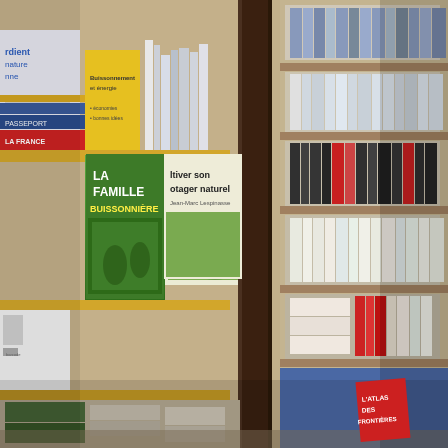[Figure (photo): Interior of a French bookstore showing wooden shelves filled with books. In the foreground on the left, prominent displayed books include 'La Famille Buissonnière' (green cover) and 'Cultiver son potager naturel' (gardening book). Multiple shelves of books in various colors recede into the background on the right. The floor has blue carpet. Dark wooden shelf posts are visible in the middle of the image.]